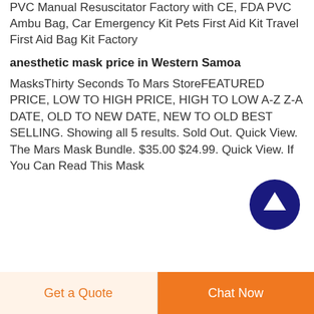PVC Manual Resuscitator Factory with CE, FDA PVC Ambu Bag, Car Emergency Kit Pets First Aid Kit Travel First Aid Bag Kit Factory
anesthetic mask price in Western Samoa
MasksThirty Seconds To Mars StoreFEATURED PRICE, LOW TO HIGH PRICE, HIGH TO LOW A-Z Z-A DATE, OLD TO NEW DATE, NEW TO OLD BEST SELLING. Showing all 5 results. Sold Out. Quick View. The Mars Mask Bundle. $35.00 $24.99. Quick View. If You Can Read This Mask
[Figure (other): Dark navy blue circular button with white upward arrow icon for scrolling to top]
Get a Quote  |  Chat Now